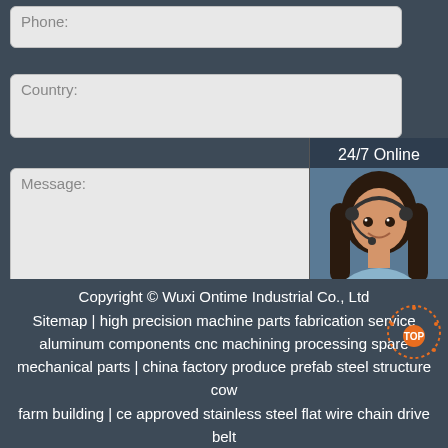Phone:
Country:
Message:
[Figure (photo): Customer service representative woman wearing headset, smiling, with '24/7 Online' header and 'Click here for free chat!' text below]
Submit Now
Copyright © Wuxi Ontime Industrial Co., Ltd
Sitemap | high precision machine parts fabrication service
aluminum components cnc machining processing spare
mechanical parts | china factory produce prefab steel structure cow
farm building | ce approved stainless steel flat wire chain drive belt